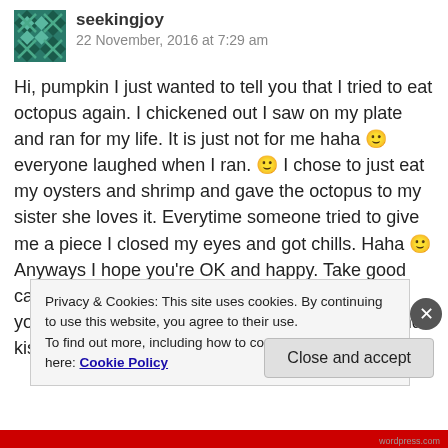seekingjoy
22 November, 2016 at 7:29 am
Hi, pumpkin I just wanted to tell you that I tried to eat octopus again. I chickened out I saw on my plate and ran for my life. It is just not for me haha 🙂 everyone laughed when I ran. 🙂 I chose to just eat my oysters and shrimp and gave the octopus to my sister she loves it. Everytime someone tried to give me a piece I closed my eyes and got chills. Haha 🙂
Anyways I hope you're OK and happy. Take good care of yourself don't want anything happening to you. You're a good friend to me blessings hugs and kisses my Spanish
Privacy & Cookies: This site uses cookies. By continuing to use this website, you agree to their use.
To find out more, including how to control cookies, see here: Cookie Policy
Close and accept